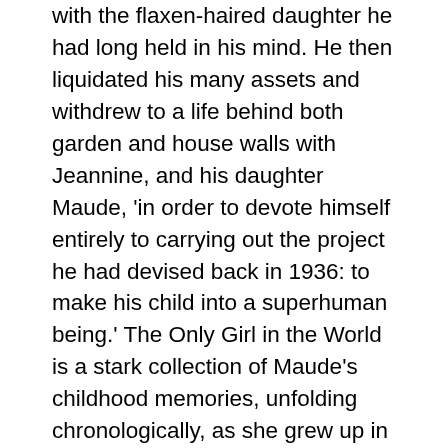with the flaxen-haired daughter he had long held in his mind. He then liquidated his many assets and withdrew to a life behind both garden and house walls with Jeannine, and his daughter Maude, 'in order to devote himself entirely to carrying out the project he had devised back in 1936: to make his child into a superhuman being.' The Only Girl in the World is a stark collection of Maude's childhood memories, unfolding chronologically, as she grew up in isolation from the world, and near isolation from humanity, with her deeply disturbed, despotic, father and brainwashed mother, who we can only assume suffered similar treatment to Maude since she was entrusted to Didier's care (although she was not expected to live long because this